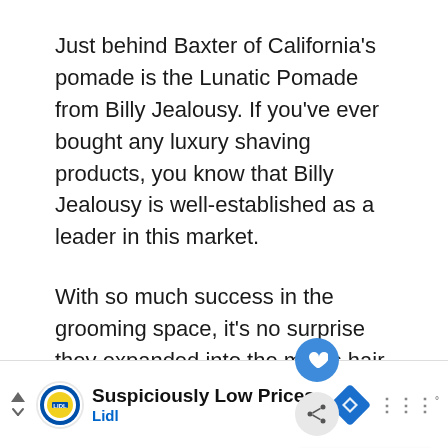Just behind Baxter of California's pomade is the Lunatic Pomade from Billy Jealousy. If you've ever bought any luxury shaving products, you know that Billy Jealousy is well-established as a leader in this market.
With so much success in the grooming space, it's no surprise they expanded into the men's hair market. And we're glad they did. Their Lunatic Pomade is one of the best on the market. And we mean that.
[Figure (other): UI overlay elements: heart icon button (blue circle), share icon button (grey circle), and a 'What's Next' card showing a Lidl-branded image with text 'The Best Axe Pomade...']
[Figure (other): Advertisement banner: Lidl logo, text 'Suspiciously Low Prices' and 'Lidl', blue diamond navigation arrow icon, and menu dots icon]